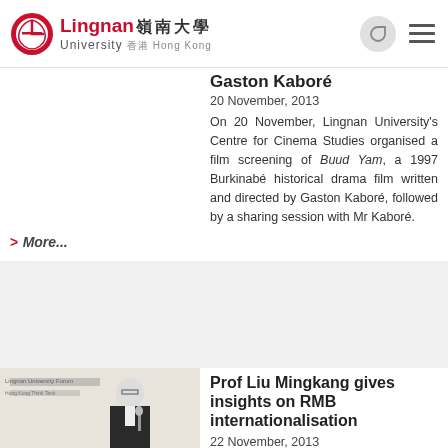Lingnan University 嶺南大學 Hong Kong
Gaston Kaboré
20 November, 2013
On 20 November, Lingnan University's Centre for Cinema Studies organised a film screening of Buud Yam, a 1997 Burkinabé historical drama film written and directed by Gaston Kaboré, followed by a sharing session with Mr Kaboré.
> More...
Prof Liu Mingkang gives insights on RMB internationalisation
22 November, 2013
Esteemed banker, Prof. Liu Mingkang